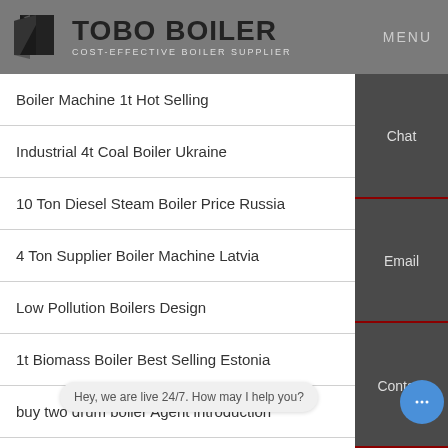TOBO BOILER COST-EFFECTIVE BOILER SUPPLIER | MENU
Boiler Machine 1t Hot Selling
Industrial 4t Coal Boiler Ukraine
10 Ton Diesel Steam Boiler Price Russia
4 Ton Supplier Boiler Machine Latvia
Low Pollution Boilers Design
1t Biomass Boiler Best Selling Estonia
buy two drum boiler Agent introduction
Distributor Hot Water Boiler 2t Belarus
Chat
Email
Contact
Hey, we are live 24/7. How may I help you?